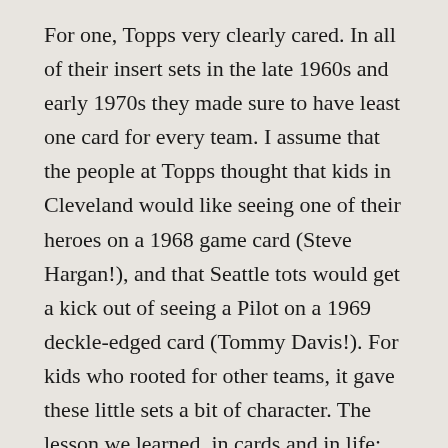For one, Topps very clearly cared. In all of their insert sets in the late 1960s and early 1970s they made sure to have least one card for every team. I assume that the people at Topps thought that kids in Cleveland would like seeing one of their heroes on a 1968 game card (Steve Hargan!), and that Seattle tots would get a kick out of seeing a Pilot on a 1969 deckle-edged card (Tommy Davis!). For kids who rooted for other teams, it gave these little sets a bit of character. The lesson we learned, in cards and in life: not every player, or person, is a Hall of Famer.
In 1970, Topps’ took this honorable stance one step further. For the three 1970 inserts sets I